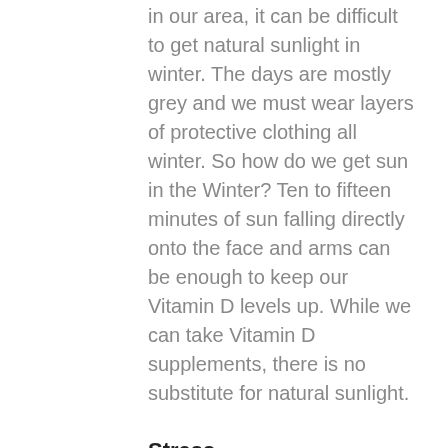in our area, it can be difficult to get natural sunlight in winter. The days are mostly grey and we must wear layers of protective clothing all winter. So how do we get sun in the Winter? Ten to fifteen minutes of sun falling directly onto the face and arms can be enough to keep our Vitamin D levels up. While we can take Vitamin D supplements, there is no substitute for natural sunlight.
Stress
We all hear about the damaging effects of stress. And yet, stress can be very hard to identify or control. Numerous studies show that both exercising outdoors and simply sitting looking at trees reduce blood pressure as well as the stress-related hormones cortisol and adrenaline. Being